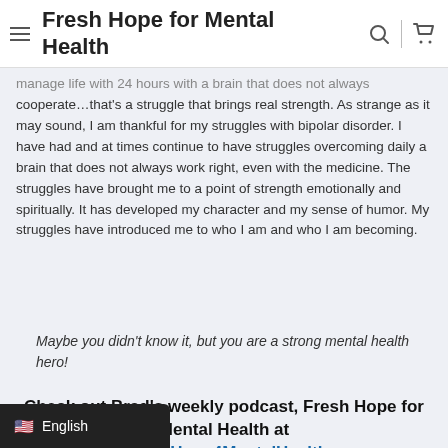Fresh Hope for Mental Health
manage life with 24 hours with a brain that does not always cooperate…that's a struggle that brings real strength. As strange as it may sound, I am thankful for my struggles with bipolar disorder. I have had and at times continue to have struggles overcoming daily a brain that does not always work right, even with the medicine. The struggles have brought me to a point of strength emotionally and spiritually. It has developed my character and my sense of humor. My struggles have introduced me to who I am and who I am becoming.
Maybe you didn't know it, but you are a strong mental health hero!
Check out Brad's weekly podcast, Fresh Hope for Mental Health at www.FreshHope4MentalHealth.com